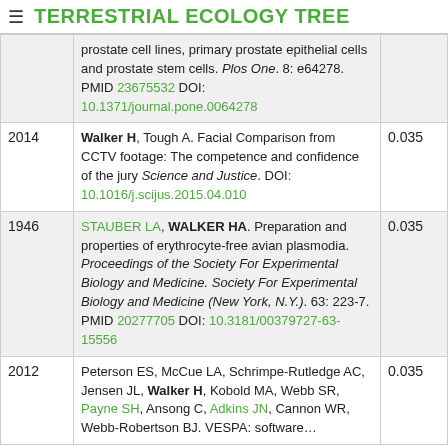TERRESTRIAL ECOLOGY TREE
| Year | Reference | Score |
| --- | --- | --- |
|  | prostate cell lines, primary prostate epithelial cells and prostate stem cells. Plos One. 8: e64278. PMID 23675532 DOI: 10.1371/journal.pone.0064278 |  |
| 2014 | Walker H, Tough A. Facial Comparison from CCTV footage: The competence and confidence of the jury Science and Justice. DOI: 10.1016/j.scijus.2015.04.010 | 0.035 |
| 1946 | STAUBER LA, WALKER HA. Preparation and properties of erythrocyte-free avian plasmodia. Proceedings of the Society For Experimental Biology and Medicine. Society For Experimental Biology and Medicine (New York, N.Y.). 63: 223-7. PMID 20277705 DOI: 10.3181/00379727-63-15556 | 0.035 |
| 2012 | Peterson ES, McCue LA, Schrimpe-Rutledge AC, Jensen JL, Walker H, Kobold MA, Webb SR, Payne SH, Ansong C, Adkins JN, Cannon WR, Webb-Robertson BJ. VESPA: software… | 0.035 |